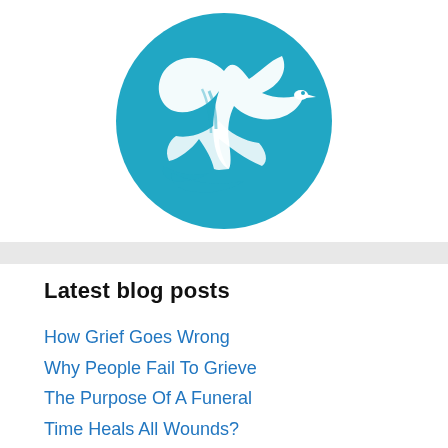[Figure (logo): Circular teal logo with white dove/bird in flight silhouette]
Latest blog posts
How Grief Goes Wrong
Why People Fail To Grieve
The Purpose Of A Funeral
Time Heals All Wounds?